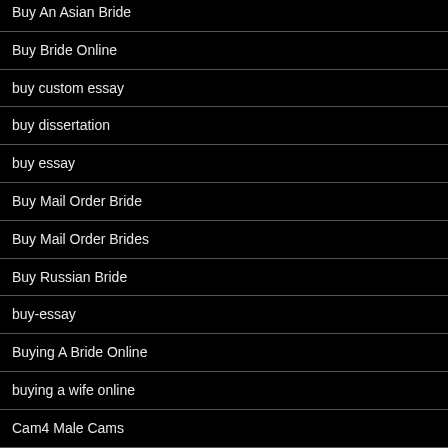Buy An Asian Bride
Buy Bride Online
buy custom essay
buy dissertation
buy essay
Buy Mail Order Bride
Buy Mail Order Brides
Buy Russian Bride
buy-essay
Buying A Bride Online
buying a wife online
Cam4 Male Cams
Cam4 Webcams